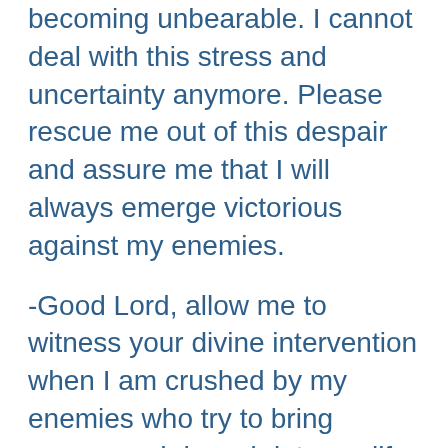becoming unbearable. I cannot deal with this stress and uncertainty anymore. Please rescue me out of this despair and assure me that I will always emerge victorious against my enemies.
-Good Lord, allow me to witness your divine intervention when I am crushed by my enemies who try to bring sorrow and despair into my life. Let me feel your comforting and watchful gaze over my heart and soul that reminds me that I have your divine compassion and protection.
-Dear Lord, May I never again...